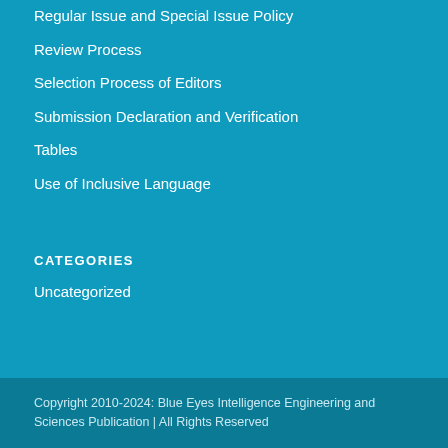Regular Issue and Special Issue Policy
Review Process
Selection Process of Editors
Submission Declaration and Verification
Tables
Use of Inclusive Language
CATEGORIES
Uncategorized
Copyright 2010-2024: Blue Eyes Intelligence Engineering and Sciences Publication | All Rights Reserved